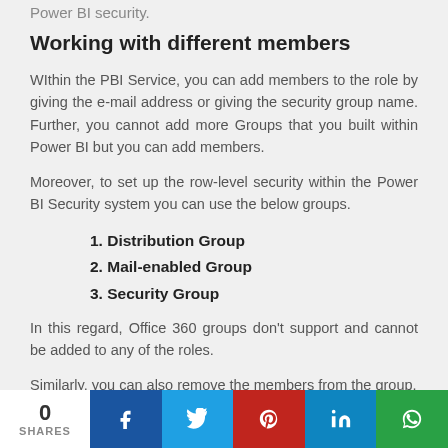Power BI security.
Working with different members
WIthin the PBI Service, you can add members to the role by giving the e-mail address or giving the security group name. Further, you cannot add more Groups that you built within Power BI but you can add members.
Moreover, to set up the row-level security within the Power BI Security system you can use the below groups.
1. Distribution Group
2. Mail-enabled Group
3. Security Group
In this regard, Office 360 groups don't support and cannot be added to any of the roles.
Similarly, you can also remove the members from the group.
0 SHARES | Facebook | Twitter | Pinterest | LinkedIn | WhatsApp